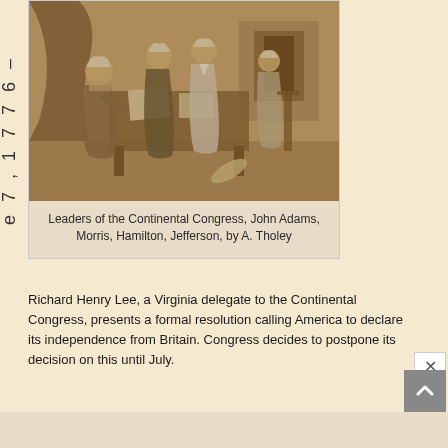e 7 , 1 7 7 6 –
[Figure (illustration): Sepia-toned historical engraving showing leaders of the Continental Congress seated and standing around a table with documents. Four figures in 18th century attire depicted in an interior setting with a fireplace.]
Leaders of the Continental Congress, John Adams, Morris, Hamilton, Jefferson, by A. Tholey
Richard Henry Lee, a Virginia delegate to the Continental Congress, presents a formal resolution calling America to declare its independence from Britain. Congress decides to postpone its decision on this until July.